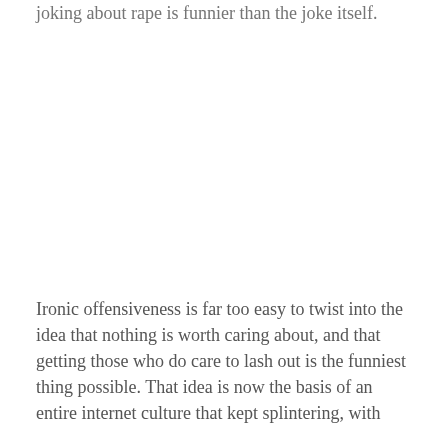joking about rape is funnier than the joke itself.
Ironic offensiveness is far too easy to twist into the idea that nothing is worth caring about, and that getting those who do care to lash out is the funniest thing possible. That idea is now the basis of an entire internet culture that kept splintering, with